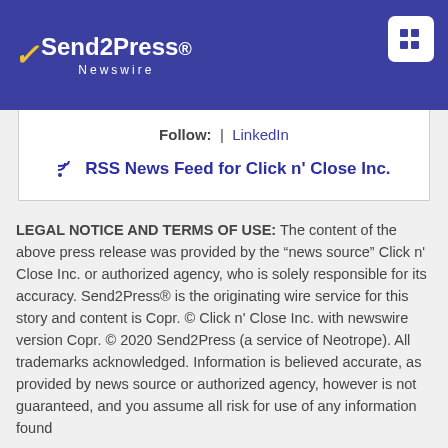Send2Press Newswire
Follow: | LinkedIn
RSS News Feed for Click n' Close Inc.
LEGAL NOTICE AND TERMS OF USE: The content of the above press release was provided by the “news source” Click n' Close Inc. or authorized agency, who is solely responsible for its accuracy. Send2Press® is the originating wire service for this story and content is Copr. © Click n' Close Inc. with newswire version Copr. © 2020 Send2Press (a service of Neotrope). All trademarks acknowledged. Information is believed accurate, as provided by news source or authorized agency, however is not guaranteed, and you assume all risk for use of any information found